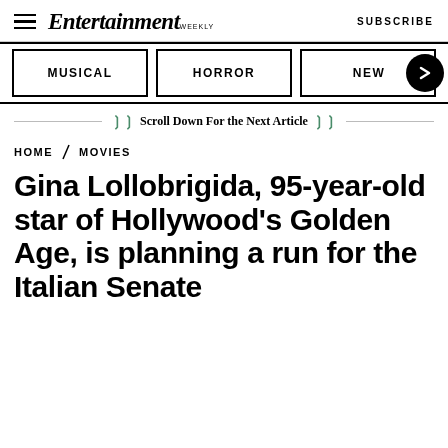Entertainment Weekly — SUBSCRIBE
[Figure (screenshot): Navigation tabs showing MUSICAL, HORROR, NEW with a right-arrow circle button]
❯❯ Scroll Down For the Next Article ❯❯
HOME / MOVIES
Gina Lollobrigida, 95-year-old star of Hollywood's Golden Age, is planning a run for the Italian Senate